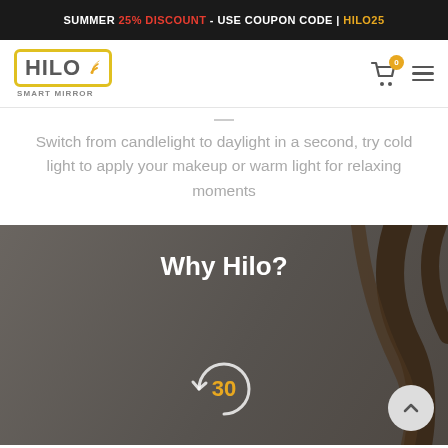SUMMER 25% DISCOUNT - USE COUPON CODE | HILO25
[Figure (logo): Hilo Smart Mirror logo with yellow border box and wifi signal icon]
Switch from candlelight to daylight in a second, try cold light to apply your makeup or warm light for relaxing moments
Why Hilo?
[Figure (illustration): 30-day return/trial icon showing circular arrow with number 30 in yellow]
[Figure (illustration): Back to top button (upward chevron in circle)]